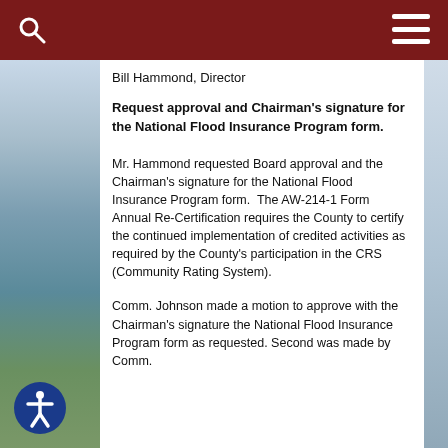Bill Hammond, Director
Request approval and Chairman's signature for the National Flood Insurance Program form.
Mr. Hammond requested Board approval and the Chairman's signature for the National Flood Insurance Program form.  The AW-214-1 Form Annual Re-Certification requires the County to certify the continued implementation of credited activities as required by the County's participation in the CRS (Community Rating System).
Comm. Johnson made a motion to approve with the Chairman's signature the National Flood Insurance Program form as requested. Second was made by Comm.